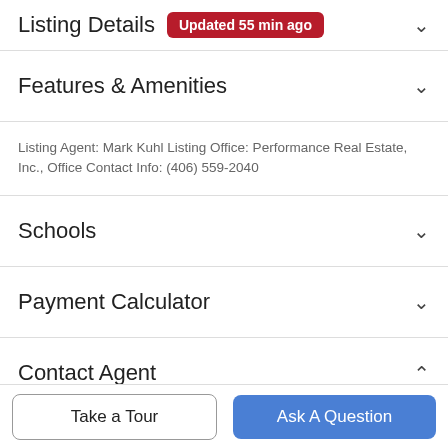Listing Details Updated 55 min ago
Features & Amenities
Listing Agent: Mark Kuhl Listing Office: Performance Real Estate, Inc., Office Contact Info: (406) 559-2040
Schools
Payment Calculator
Contact Agent
[Figure (photo): Circular avatar photo of a person with dark hair]
Take a Tour
Ask A Question